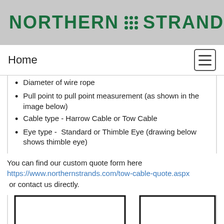[Figure (logo): Northern Strands logo with green bold text and dot grid separator on grey background]
Home
Diameter of wire rope
Pull point to pull point measurement (as shown in the image below)
Cable type - Harrow Cable or Tow Cable
Eye type -  Standard or Thimble Eye (drawing below shows thimble eye)
You can find our custom quote form here https://www.northernstrands.com/tow-cable-quote.aspx  or contact us directly.
[Figure (illustration): Technical diagram of wire rope cable assembly with thimble eye, partially visible at bottom of page]